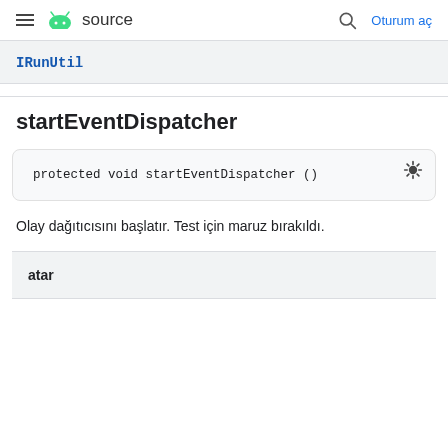≡ android source   🔍 Oturum aç
IRunUtil
startEventDispatcher
protected void startEventDispatcher ()
Olay dağıtıcısını başlatır. Test için maruz bırakıldı.
atar